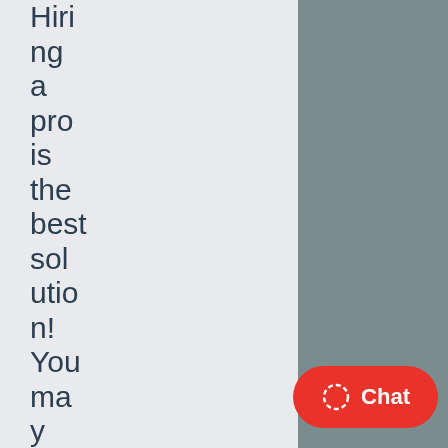Hiring a pro is the best solution! You may follow some moving tips, but the
[Figure (other): Red rounded chat button with dashed circle icon and 'Chat' label]